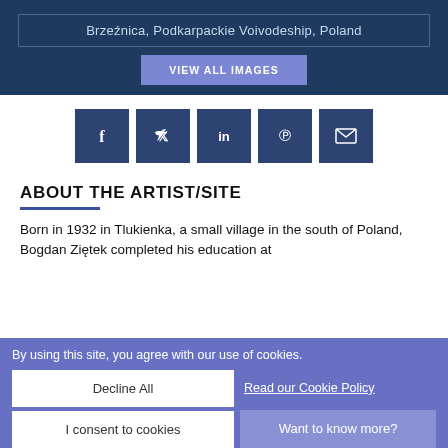Brzeźnica, Podkarpackie Voivodeship, Poland
VIEW ALL IMAGES
[Figure (other): Social media sharing icons: Facebook, Twitter, LinkedIn, Pinterest, Email]
ABOUT THE ARTIST/SITE
Born in 1932 in Tlukienka, a small village in the south of Poland, Bogdan Ziętek completed his education at
By using this site, you agree with our use of cookies.
Decline All
Read our Cookie Policy
I consent to cookies
Want to know more?